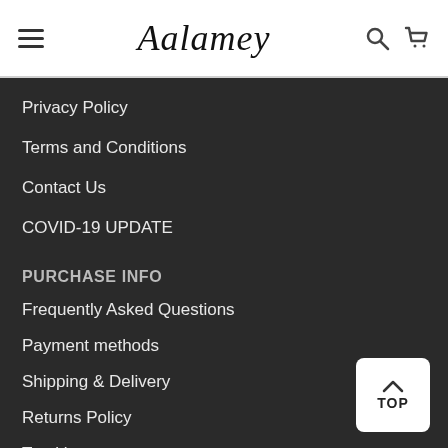Aalamey
Privacy Policy
Terms and Conditions
Contact Us
COVID-19 UPDATE
PURCHASE INFO
Frequently Asked Questions
Payment methods
Shipping & Delivery
Returns Policy
Tracking